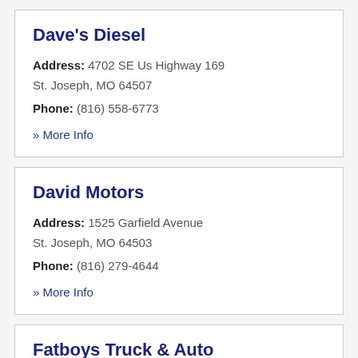Dave's Diesel
Address: 4702 SE Us Highway 169
St. Joseph, MO 64507
Phone: (816) 558-6773
» More Info
David Motors
Address: 1525 Garfield Avenue
St. Joseph, MO 64503
Phone: (816) 279-4644
» More Info
Fatboys Truck & Auto